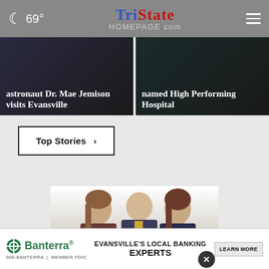69° | TristateHomepage.com
astronaut Dr. Mae Jemison visits Evansville
named High Performing Hospital
Top Stories ›
[Figure (photo): Advertisement popup showing three business professionals (two women flanking a man) in front of a green banner reading EVANSVILLE'S with a close button]
[Figure (logo): Banterra Bank advertisement banner: EVANSVILLE'S LOCAL BANKING EXPERTS | 866-BANTERRA | MEMBER FDIC | LEARN MORE button]